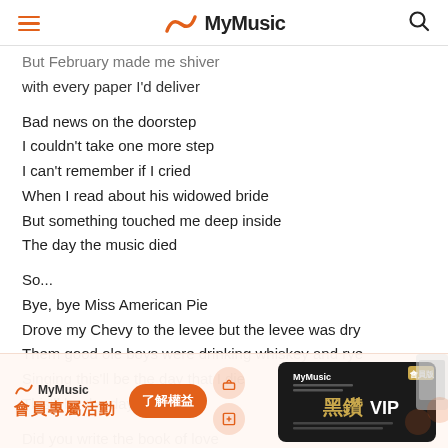MyMusic
But February made me shiver
with every paper I'd deliver

Bad news on the doorstep
I couldn't take one more step
I can't remember if I cried
When I read about his widowed bride
But something touched me deep inside
The day the music died

So...
Bye, bye Miss American Pie
Drove my Chevy to the levee but the levee was dry
Them good ole boys were drinking whiskey and rye
Singing this'll be the day that I die
This'll be the day that I die

Did you write the book of love
[Figure (infographic): MyMusic 會員專屬活動 advertisement banner with logo, 了解權益 button, gift icons, and 黑鑽 VIP card image]